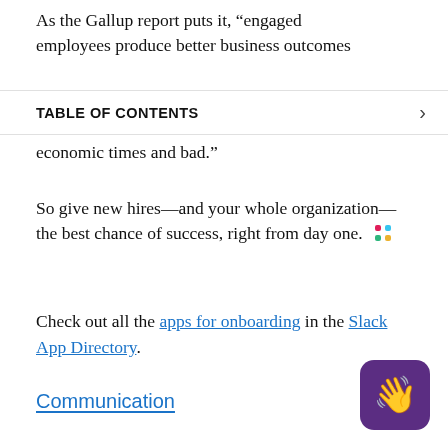As the Gallup report puts it, “engaged employees produce better business outcomes
TABLE OF CONTENTS
economic times and bad.”
So give new hires—and your whole organization—the best chance of success, right from day one. 💫
Check out all the apps for onboarding in the Slack App Directory.
Communication